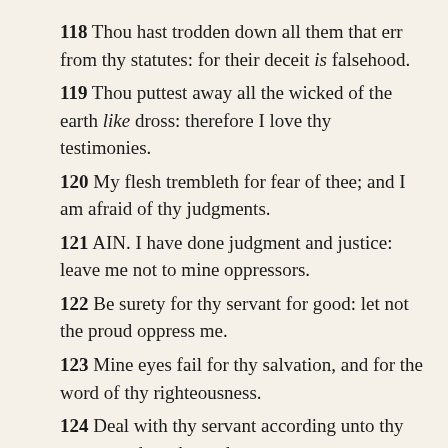118 Thou hast trodden down all them that err from thy statutes: for their deceit is falsehood.
119 Thou puttest away all the wicked of the earth like dross: therefore I love thy testimonies.
120 My flesh trembleth for fear of thee; and I am afraid of thy judgments.
121 AIN. I have done judgment and justice: leave me not to mine oppressors.
122 Be surety for thy servant for good: let not the proud oppress me.
123 Mine eyes fail for thy salvation, and for the word of thy righteousness.
124 Deal with thy servant according unto thy mercy, and teach me thy statutes.
125 I am thy servant; give me understanding, that I may know thy testimonies.
126 It is time for thee, LORD, to work: for they have made...